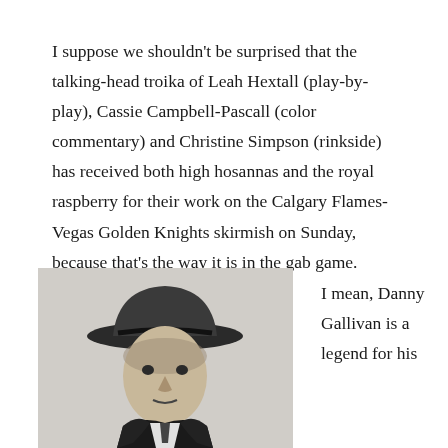I suppose we shouldn't be surprised that the talking-head troika of Leah Hextall (play-by-play), Cassie Campbell-Pascall (color commentary) and Christine Simpson (rinkside) has received both high hosannas and the royal raspberry for their work on the Calgary Flames-Vegas Golden Knights skirmish on Sunday, because that's the way it is in the gab game.
[Figure (photo): Black and white photograph of a man wearing a fedora hat and dark suit with a patterned tie, looking directly at the camera.]
I mean, Danny Gallivan is a legend for his